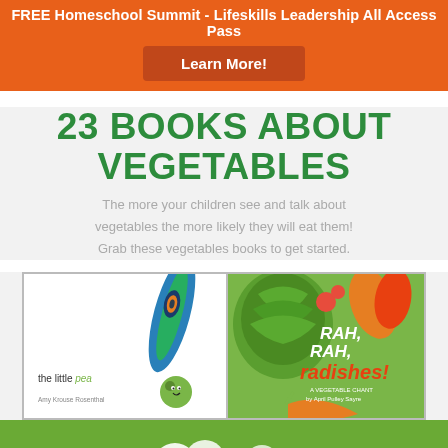FREE Homeschool Summit - Lifeskills Leadership All Access Pass
Learn More!
23 BOOKS ABOUT VEGETABLES
The more your children see and talk about vegetables the more likely they will eat them! Grab these vegetables books to get started.
[Figure (photo): Two children's book covers: 'the little pea' by Amy Krouse Rosenthal with a peacock feather and small pea character illustration, and 'Rah, Rah, Radishes! A Vegetable Chant' by April Pulley Sayre with colorful vegetables including artichoke, red peppers, and carrots on a green background.]
[Figure (photo): Green strip at the bottom showing partial view of another book cover with white decorative elements on green background.]